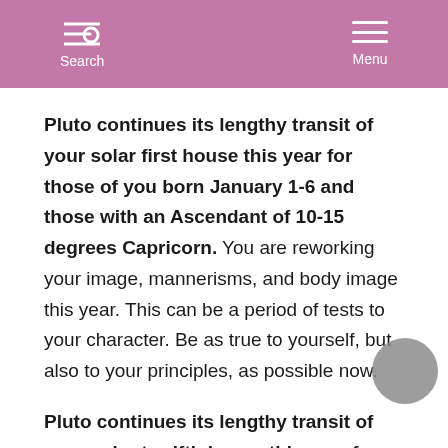Search  Menu
Pluto continues its lengthy transit of your solar first house this year for those of you born January 1-6 and those with an Ascendant of 10-15 degrees Capricorn. You are reworking your image, mannerisms, and body image this year. This can be a period of tests to your character. Be as true to yourself, but also to your principles, as possible now.
Pluto continues its lengthy transit of your solar twelfth house this year for those of you born January 7-10 and those with an Ascendant of 16-20 degrees Capricorn.